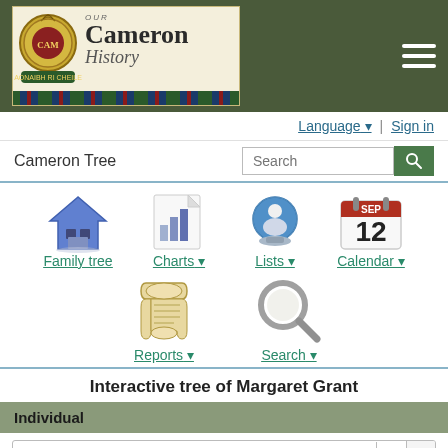Our Cameron History — navigation header with logo
Language ▾  |  Sign in
Cameron Tree  [Search box]
[Figure (screenshot): Navigation icons: Family tree (house icon), Charts (bar chart icon with dropdown), Lists (person/folder icon with dropdown), Calendar (Sep 12 calendar icon with dropdown)]
[Figure (screenshot): Navigation icons row 2: Reports (scroll icon with dropdown), Search (magnifying glass icon with dropdown)]
Interactive tree of Margaret Grant
Individual
Margaret Grant, 1837–